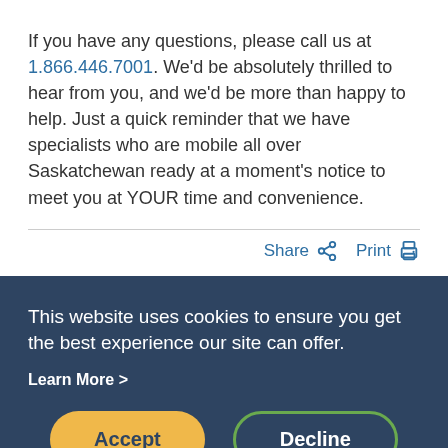If you have any questions, please call us at 1.866.446.7001. We'd be absolutely thrilled to hear from you, and we'd be more than happy to help. Just a quick reminder that we have specialists who are mobile all over Saskatchewan ready at a moment's notice to meet you at YOUR time and convenience.
Share  Print
This website uses cookies to ensure you get the best experience our site can offer.
Learn More >
Accept
Decline